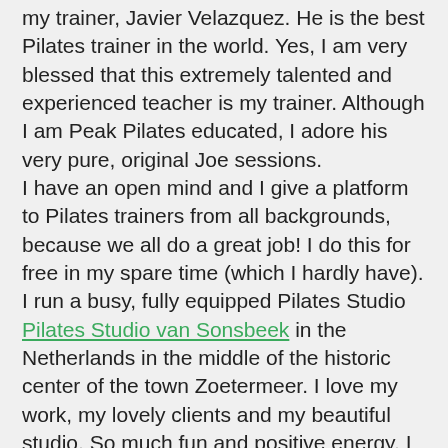my trainer, Javier Velazquez. He is the best Pilates trainer in the world. Yes, I am very blessed that this extremely talented and experienced teacher is my trainer. Although I am Peak Pilates educated, I adore his very pure, original Joe sessions.
I have an open mind and I give a platform to Pilates trainers from all backgrounds, because we all do a great job! I do this for free in my spare time (which I hardly have).
I run a busy, fully equipped Pilates Studio Pilates Studio van Sonsbeek in the Netherlands in the middle of the historic center of the town Zoetermeer. I love my work, my lovely clients and my beautiful studio. So much fun and positive energy. I teach 6 days a week an average of 30 sessions; privates, duo's, trio's and groups.
You would do me a great favor if you like my page on Facebook! Thank you very much!
I am the owner of the Magazines Pilatesglossy